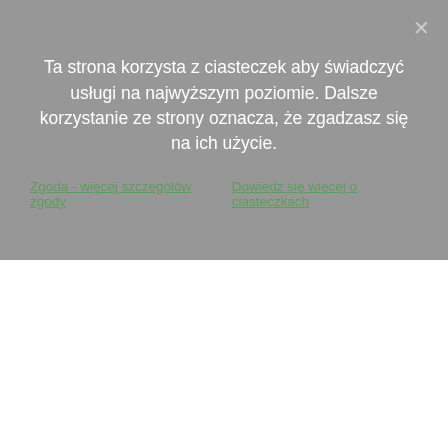Ta strona korzysta z ciasteczek aby świadczyć usługi na najwyższym poziomie. Dalsze korzystanie ze strony oznacza, że zgadzasz się na ich użycie.
Zgoda - więcej szczegółów zgody   Dowiedz się więcej o ciasteczkach